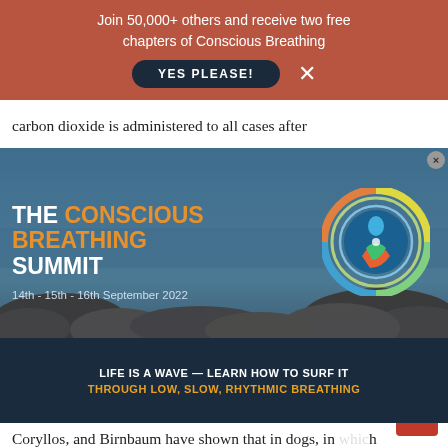Join 50,000+ others and receive two free chapters of Conscious Breathing
[Figure (screenshot): Popup overlay showing 'The Conscious Breathing Summit' advertisement with ocean/rocks background, logo, dates 14th-15th-16th September 2022, and tagline 'Life is a Wave — Learn How to Surf It Through Low, Slow, Rhythmic Breathing']
carbon dioxide is administered to all cases after anesthesia and operation, the lungs are re-expanded, the tonus of...asis is prevented...a is virtually...
Pneu...
The possible benefits of a similar inhalational treatment of medical pneumonia, for example after influenza, are just now under active investigation. Henderson, Haggard, Coryllos, and Birnbaum have shown that in dogs, in which pneumonia has been experimentally induced, the lungs